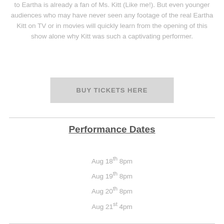to Eartha is already a fan of Ms. Kitt (Like me!). But even younger audiences who may have never seen any footage of the real Eartha Kitt on TV or in movies will quickly learn from the opening of this show alone why Kitt was such a captivating performer.
BUY TICKETS HERE
Performance Dates
Aug 18th 8pm
Aug 19th 8pm
Aug 20th 8pm
Aug 21st 4pm